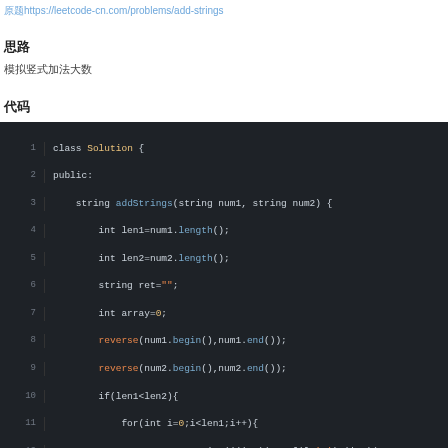原题https://leetcode-cn.com/problems/add-strings
思路
模拟竖式加法大数
代码
[Figure (screenshot): C++ code for addStrings solution in dark code editor theme, showing class Solution with addStrings method using reverse and array carry logic]